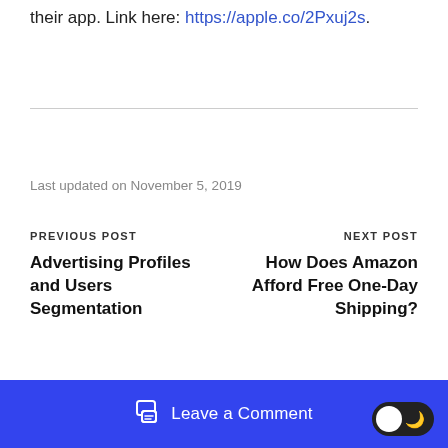their app. Link here: https://apple.co/2Pxuj2s.
Last updated on November 5, 2019
PREVIOUS POST
Advertising Profiles and Users Segmentation
NEXT POST
How Does Amazon Afford Free One-Day Shipping?
Leave a Comment